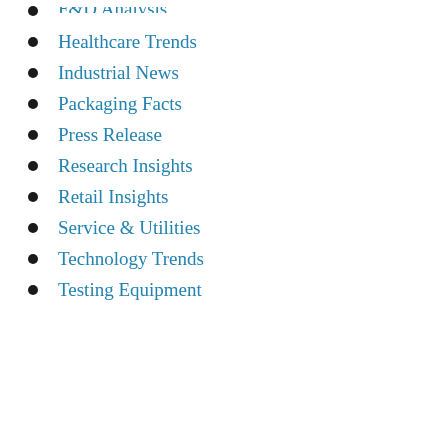F&D Analysis
Healthcare Trends
Industrial News
Packaging Facts
Press Release
Research Insights
Retail Insights
Service & Utilities
Technology Trends
Testing Equipment